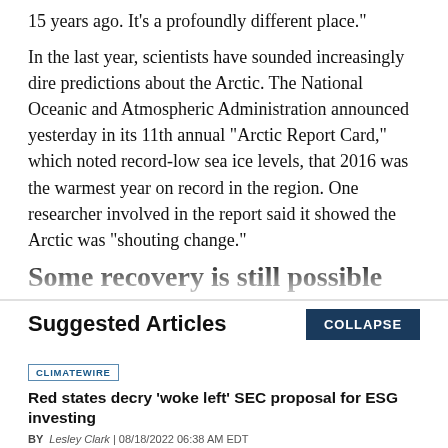15 years ago. It’s a profoundly different place."
In the last year, scientists have sounded increasingly dire predictions about the Arctic. The National Oceanic and Atmospheric Administration announced yesterday in its 11th annual "Arctic Report Card," which noted record-low sea ice levels, that 2016 was the warmest year on record in the region. One researcher involved in the report said it showed the Arctic was "shouting change."
Some recovery is still possible
Suggested Articles
CLIMATEWIRE
Red states decry ‘woke left’ SEC proposal for ESG investing
BY Lesley Clark | 08/18/2022 06:38 AM EDT
Read More >>
CLIMATEWIRE
Hundreds of thousands drop flood insurance as rates rise